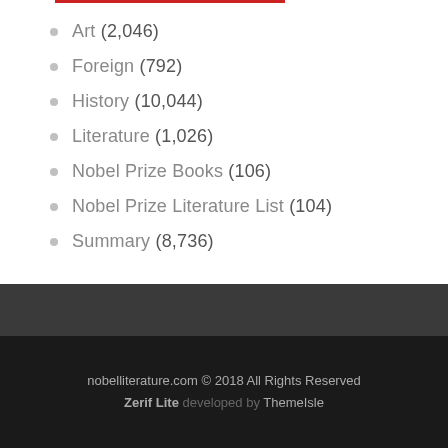Art (2,046)
Foreign (792)
History (10,044)
Literature (1,026)
Nobel Prize Books (106)
Nobel Prize Literature List (104)
Summary (8,736)
nobelliterature.com © 2018 All Rights Reserved Zerif Lite developed by ThemeIsle